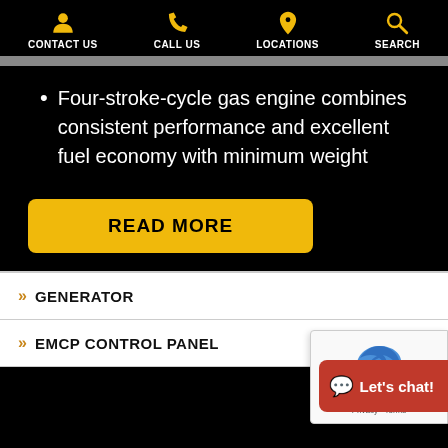CONTACT US | CALL US | LOCATIONS | SEARCH
Four-stroke-cycle gas engine combines consistent performance and excellent fuel economy with minimum weight
READ MORE
» GENERATOR
» EMCP CONTROL PANEL